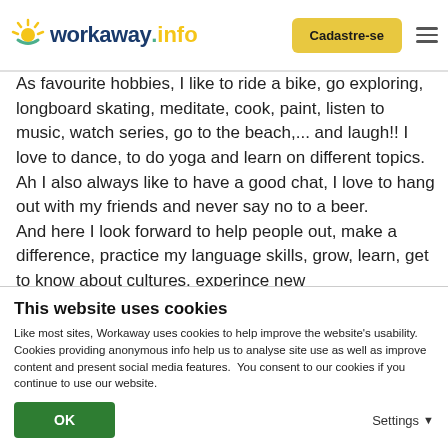workaway.info | Cadastre-se
As favourite hobbies, I like to ride a bike, go exploring, longboard skating, meditate, cook, paint, listen to music, watch series, go to the beach,... and laugh!! I love to dance, to do yoga and learn on different topics. Ah I also always like to have a good chat, I love to hang out with my friends and never say no to a beer.
And here I look forward to help people out, make a difference, practice my language skills, grow, learn, get to know about cultures, experince new
This website uses cookies
Like most sites, Workaway uses cookies to help improve the website's usability. Cookies providing anonymous info help us to analyse site use as well as improve content and present social media features.  You consent to our cookies if you continue to use our website.
OK | Settings